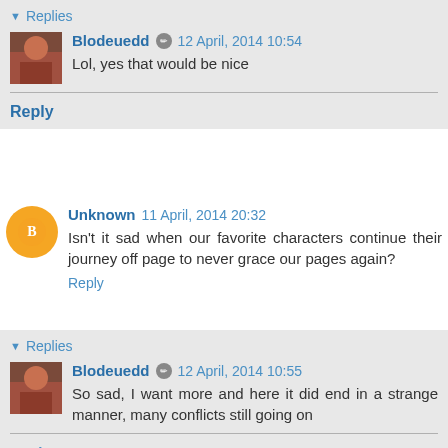▼ Replies
Blodeuedd  12 April, 2014 10:54
Lol, yes that would be nice
Reply
Unknown  11 April, 2014 20:32
Isn't it sad when our favorite characters continue their journey off page to never grace our pages again?
Reply
▼ Replies
Blodeuedd  12 April, 2014 10:55
So sad, I want more and here it did end in a strange manner, many conflicts still going on
Reply